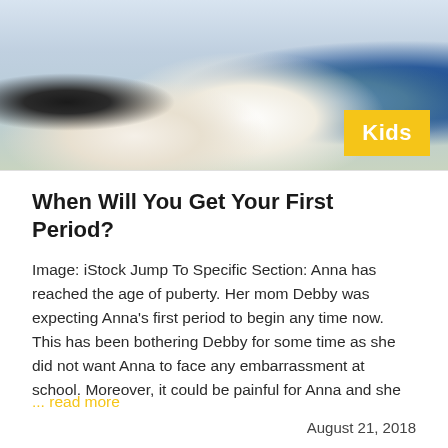[Figure (photo): Doctor in white coat with stethoscope handing something to a patient (young girl in blue) while a woman (mother) sits beside her at a medical office desk with a laptop]
When Will You Get Your First Period?
Image: iStock Jump To Specific Section: Anna has reached the age of puberty. Her mom Debby was expecting Anna's first period to begin any time now. This has been bothering Debby for some time as she did not want Anna to face any embarrassment at school. Moreover, it could be painful for Anna and she
... read more
August 21, 2018